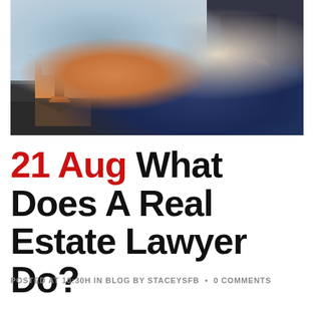[Figure (photo): Photo of a miniature house model on a reflective surface alongside a person in a suit writing on documents with a clipboard and pen in the background]
21 Aug What Does A Real Estate Lawyer Do?
POSTED AT 10:30H IN BLOG BY STACEYSFB • 0 COMMENTS